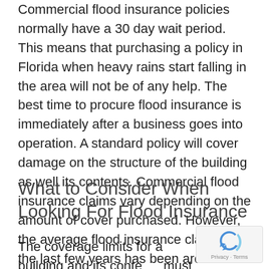Commercial flood insurance policies normally have a 30 day wait period. This means that purchasing a policy in Florida when heavy rains start falling in the area will not be of any help. The best time to procure flood insurance is immediately after a business goes into operation. A standard policy will cover damage on the structure of the building as well its contents. Commercial flood insurance claims vary depending on the amount of cover purchased. However, the average flood insurance claim over the last few years has been around $85,000.
What to Consider When Looking For Flood Insurance
The coverage limits for a building and its contents must be considered when looking for coverage. A limit is simply the amount of money that the business